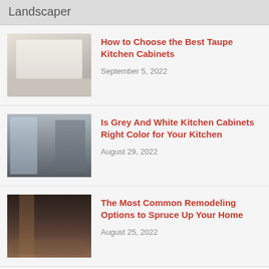Landscaper
How to Choose the Best Taupe Kitchen Cabinets
September 5, 2022
Is Grey And White Kitchen Cabinets Right Color for Your Kitchen
August 29, 2022
The Most Common Remodeling Options to Spruce Up Your Home
August 25, 2022
Learn More about Steel Shed and Things to Consider